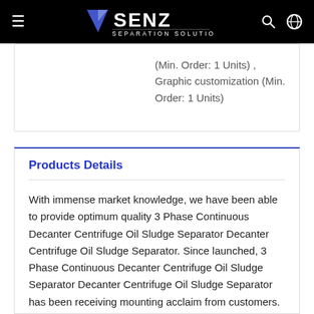SENZ SEPARATION SOLUTIONS
(Min. Order: 1 Units) , Graphic customization (Min. Order: 1 Units)
Products Details
With immense market knowledge, we have been able to provide optimum quality 3 Phase Continuous Decanter Centrifuge Oil Sludge Separator Decanter Centrifuge Oil Sludge Separator. Since launched, 3 Phase Continuous Decanter Centrifuge Oil Sludge Separator Decanter Centrifuge Oil Sludge Separator has been receiving mounting acclaim from customers. In this technology-driven society, 2018 focus on improving R&D strength and keep developing new technologies so as to increase our competitiveness in the industry. We aim to become one of the leading enterprises in